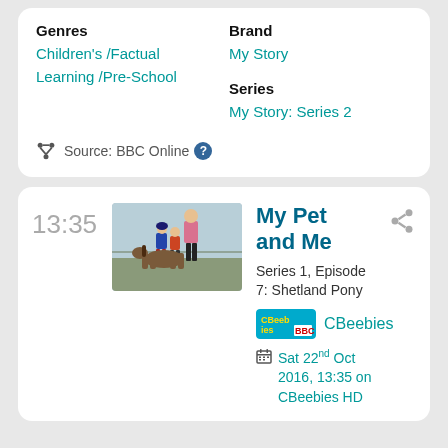Genres: Children's / Factual Learning / Pre-School
Brand: My Story
Series: My Story: Series 2
Source: BBC Online
13:35
[Figure (photo): A person and two children with a small pony in a field]
My Pet and Me
Series 1, Episode 7: Shetland Pony
[Figure (logo): CBeebies BBC logo]
CBeebies
Sat 22nd Oct 2016, 13:35 on CBeebies HD